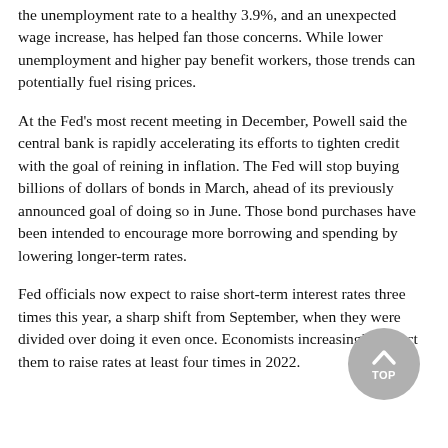the unemployment rate to a healthy 3.9%, and an unexpected wage increase, has helped fan those concerns. While lower unemployment and higher pay benefit workers, those trends can potentially fuel rising prices.
At the Fed's most recent meeting in December, Powell said the central bank is rapidly accelerating its efforts to tighten credit with the goal of reining in inflation. The Fed will stop buying billions of dollars of bonds in March, ahead of its previously announced goal of doing so in June. Those bond purchases have been intended to encourage more borrowing and spending by lowering longer-term rates.
Fed officials now expect to raise short-term interest rates three times this year, a sharp shift from September, when they were divided over doing it even once. Economists increasingly expect them to raise rates at least four times in 2022.
[Figure (other): Circular back-to-top button with an upward arrow and 'TOP' label, gray background]